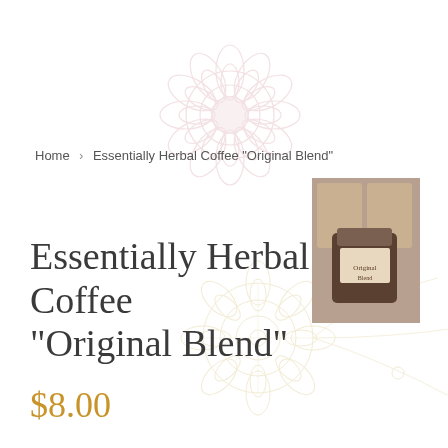[Figure (illustration): Pink/rose mandala flower decorative background illustration, top-left area]
Home › Essentially Herbal Coffee "Original Blend"
[Figure (photo): Product photo showing herbal coffee packages and a small jar on a dark surface]
[Figure (illustration): Gold/tan mandala and floral decorative background illustration, bottom-right area]
Essentially Herbal Coffee "Original Blend"
$8.00